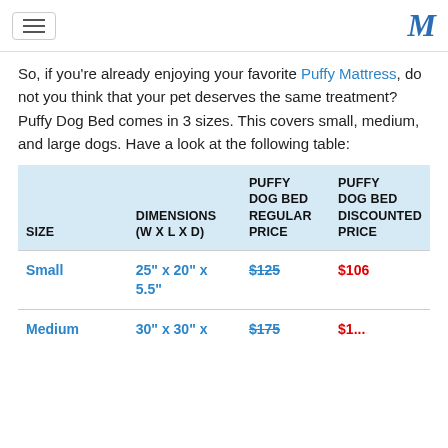[Navigation bar with hamburger menu and M logo]
So, if you're already enjoying your favorite Puffy Mattress, do not you think that your pet deserves the same treatment? Puffy Dog Bed comes in 3 sizes. This covers small, medium, and large dogs. Have a look at the following table:
| SIZE | DIMENSIONS (W x L x D) | PUFFY DOG BED REGULAR PRICE | PUFFY DOG BED DISCOUNTED PRICE |
| --- | --- | --- | --- |
| Small | 25" x 20" x 5.5" | $125 | $106 |
| Medium | 30" x 30" x ... | $175 | $1... |